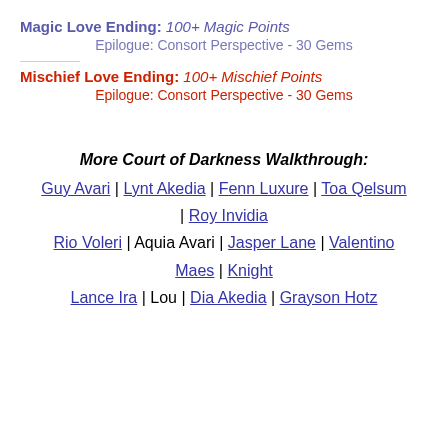Magic Love Ending: 100+ Magic Points
Epilogue: Consort Perspective - 30 Gems
Mischief Love Ending: 100+ Mischief Points
Epilogue: Consort Perspective - 30 Gems
More Court of Darkness Walkthrough:
Guy Avari | Lynt Akedia | Fenn Luxure | Toa Qelsum | Roy Invidia
Rio Voleri | Aquia Avari | Jasper Lane | Valentino Maes | Knight
Lance Ira | Lou | Dia Akedia | Grayson Hotz